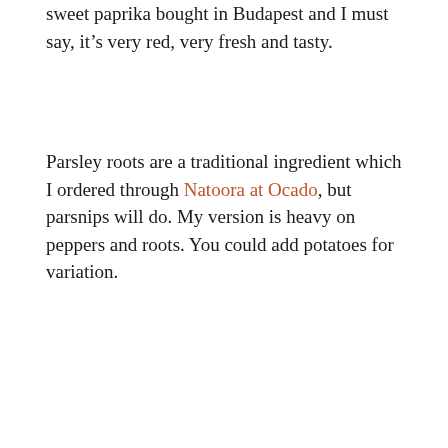sweet paprika bought in Budapest and I must say, it's very red, very fresh and tasty.
Parsley roots are a traditional ingredient which I ordered through Natoora at Ocado, but parsnips will do. My version is heavy on peppers and roots. You could add potatoes for variation.